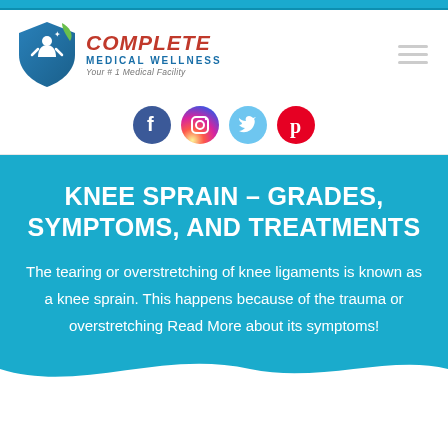[Figure (logo): Complete Medical Wellness logo with shield icon, red COMPLETE text, blue MEDICAL WELLNESS text, and tagline Your #1 Medical Facility]
[Figure (infographic): Social media icons: Facebook (blue), Instagram (gradient), Twitter (light blue), Pinterest (red)]
KNEE SPRAIN – GRADES, SYMPTOMS, AND TREATMENTS
The tearing or overstretching of knee ligaments is known as a knee sprain. This happens because of the trauma or overstretching Read More about its symptoms!